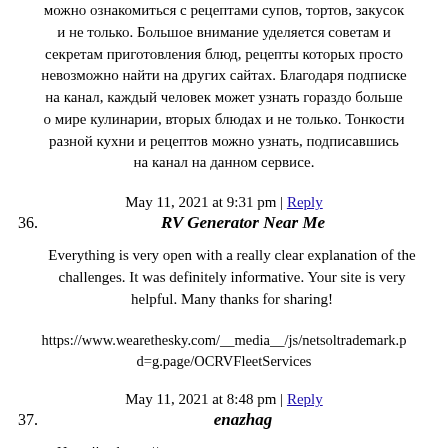можно ознакомиться с рецептами супов, тортов, закусок и не только. Большое внимание уделяется советам и секретам приготовления блюд, рецепты которых просто невозможно найти на других сайтах. Благодаря подписке на канал, каждый человек может узнать гораздо больше о мире кулинарии, вторых блюдах и не только. Тонкости разной кухни и рецептов можно узнать, подписавшись на канал на данном сервисе.
May 11, 2021 at 9:31 pm | Reply
36. RV Generator Near Me
Everything is very open with a really clear explanation of the challenges. It was definitely informative. Your site is very helpful. Many thanks for sharing!
https://www.wearethesky.com/__media__/js/netsoltrademark.php?d=g.page/OCRVFleetServices
May 11, 2021 at 8:48 pm | Reply
37. enazhag
На сайте https://egrn.appany.ru можно заказать выписку из ЕГРН, что позволит получить информацию о любом объекте недвижимости в России. Проверка данных об объекте стоит 190 рублей, полную проверку можно